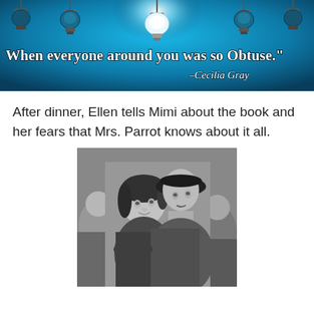[Figure (illustration): Banner image with hanging light bulbs on a teal/blue background. One central bulb glows white-bright. Text overlay reads: When everyone around you was so Obtuse." -Cecilia Gray]
After dinner, Ellen tells Mimi about the book and her fears that Mrs. Parrot knows about it all.
[Figure (photo): Black and white vintage photograph of a woman and a man. The woman has dark curly hair and leans against the man's chest, looking up with a worried expression. The man wears a dark hat and coat and looks upward seriously. Background shows blurred crowd.]